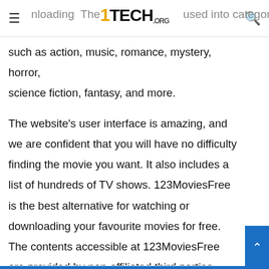1TECH.ORG — downloading, categories such as action, music, romance, mystery, horror, science fiction, fantasy, and more.
such as action, music, romance, mystery, horror, science fiction, fantasy, and more.

The website's user interface is amazing, and we are confident that you will have no difficulty finding the movie you want. It also includes a list of hundreds of TV shows. 123MoviesFree is the best alternative for watching or downloading your favourite movies for free. The contents accessible at 123MoviesFree are provided by non-affiliated third parties, rather than